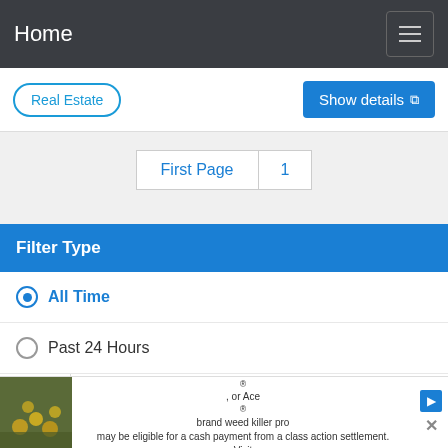Home
Real Estate
Show details
First Page | 1
Filter Type
All Time
Past 24 Hours
Purchasers of certain Roundup®, HDX®, or Ace® brand weed killer pro may be eligible for a cash payment from a class action settlement. Visit www.WeedKillerAdSettlement.com to learn more.